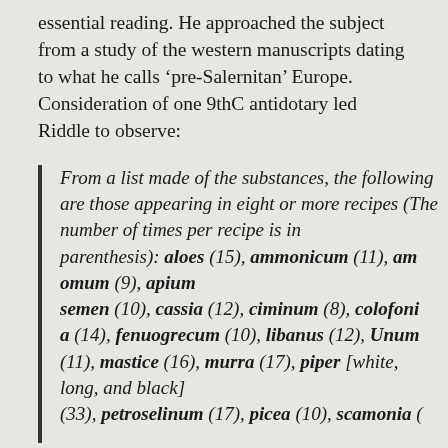essential reading. He approached the subject from a study of the western manuscripts dating to what he calls 'pre-Salernitan' Europe. Consideration of one 9thC antidotary led Riddle to observe:
From a list made of the substances, the following are those appearing in eight or more recipes (The number of times per recipe is in parenthesis): aloes (15), ammonicum (11), amomum (9), apium semen (10), cassia (12), ciminum (8), colofonia (14), fenuogrecum (10), libanus (12), Unum (11), mastice (16), murra (17), piper [white, long, and black] (33), petroselinum (17), picea (10), scamonia (